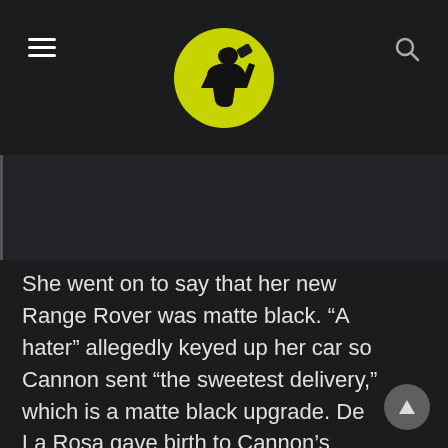Drunkard.com logo and navigation
[Figure (photo): Dark image placeholder with left border line]
She went on to say that her new Range Rover was matte black. “A hater” allegedly keyed up her car so Cannon sent “the sweetest delivery,” which is a matte black upgrade. De La Rosa gave birth to Cannon’s twins last year.